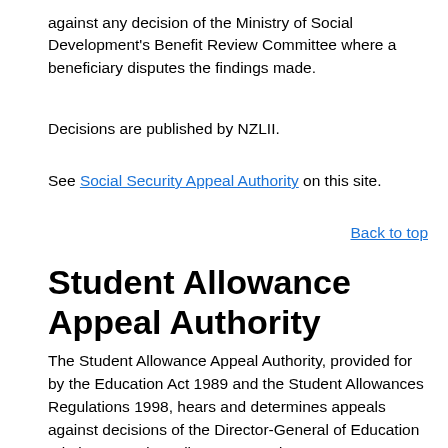against any decision of the Ministry of Social Development's Benefit Review Committee where a beneficiary disputes the findings made.
Decisions are published by NZLII.
See Social Security Appeal Authority on this site.
Back to top
Student Allowance Appeal Authority
The Student Allowance Appeal Authority, provided for by the Education Act 1989 and the Student Allowances Regulations 1998, hears and determines appeals against decisions of the Director-General of Education relating to student allowances and grants.